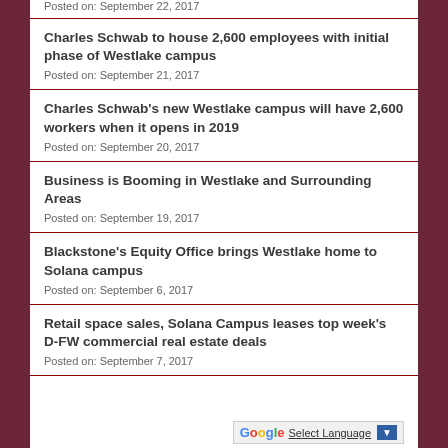Posted on: September 22, 2017
Charles Schwab to house 2,600 employees with initial phase of Westlake campus
Posted on: September 21, 2017
Charles Schwab's new Westlake campus will have 2,600 workers when it opens in 2019
Posted on: September 20, 2017
Business is Booming in Westlake and Surrounding Areas
Posted on: September 19, 2017
Blackstone's Equity Office brings Westlake home to Solana campus
Posted on: September 6, 2017
Retail space sales, Solana Campus leases top week's D-FW commercial real estate deals
Posted on: September 7, 2017